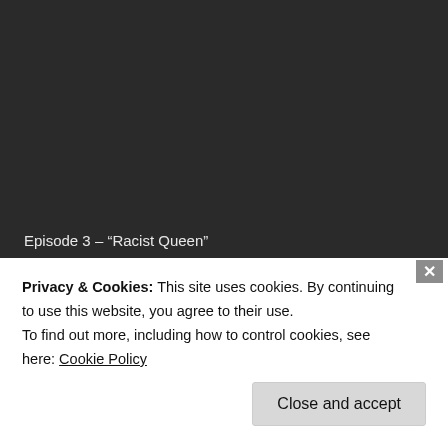Episode 3 – “Racist Queen”
[Figure (screenshot): YouTube embedded video thumbnail showing 'Episode 3 : Racist Queen' with a person holding a spray bottle, YouTube play button overlay visible]
Privacy & Cookies: This site uses cookies. By continuing to use this website, you agree to their use.
To find out more, including how to control cookies, see here: Cookie Policy
Close and accept